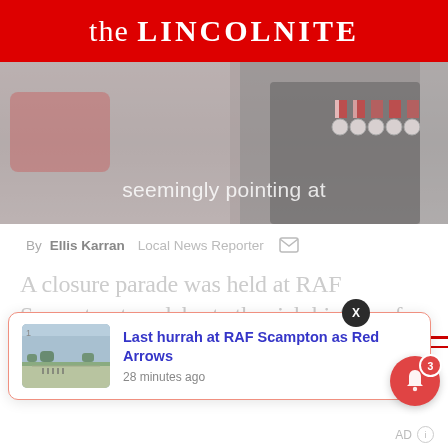the LINCOLNITE
[Figure (photo): Hero image showing a person in RAF uniform with medals, partially visible. Text overlay reads 'seemingly pointing at']
By Ellis Karran  Local News Reporter
A closure parade was held at RAF Scampton to celebrate the rich history of the base, before the curtain drops on the century-old
[Figure (screenshot): Popup notification card with thumbnail image of RAF Scampton airfield, titled 'Last hurrah at RAF Scampton as Red Arrows', timestamped '28 minutes ago'. Has a close X button and a red bell notification icon with badge showing 3.]